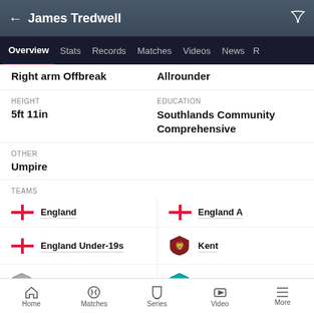← James Tredwell
Overview  Stats  Records  Matches  Videos  News
Right arm Offbreak   Allrounder
HEIGHT
5ft 11in
EDUCATION
Southlands Community Comprehensive
OTHER
Umpire
TEAMS
England
England A
England Under-19s
Kent
Kent Cricket Board
Sussex
Home  Matches  Series  Video  More